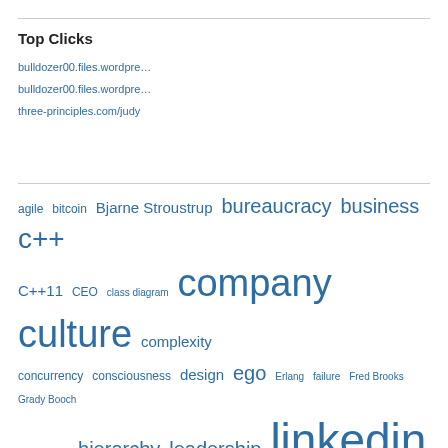Top Clicks
bulldozer00.files.wordpre…
bulldozer00.files.wordpre…
three-principles.com/judy
[Figure (infographic): Tag cloud with terms: agile, bitcoin, Bjarne Stroustrup, bureaucracy, business, c++, C++11, CEO, class diagram, company culture, complexity, concurrency, consciousness, design, ego, Erlang, failure, Fred Brooks, Grady Booch, Herb Sutter, hierarchy, leadership, linkedin, management, manager, organizational behavior, postaday2011, product, shown in varying sizes indicating frequency, all in blue]